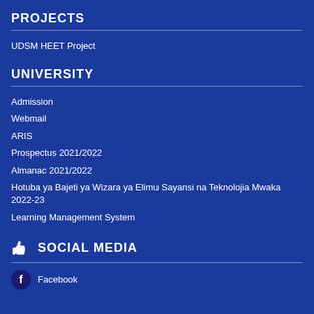PROJECTS
UDSM HEET Project
UNIVERSITY
Admission
Webmail
ARIS
Prospectus 2021/2022
Almanac 2021/2022
Hotuba ya Bajeti ya Wizara ya Elimu Sayansi na Teknolojia Mwaka 2022-23
Learning Management System
SOCIAL MEDIA
Facebook